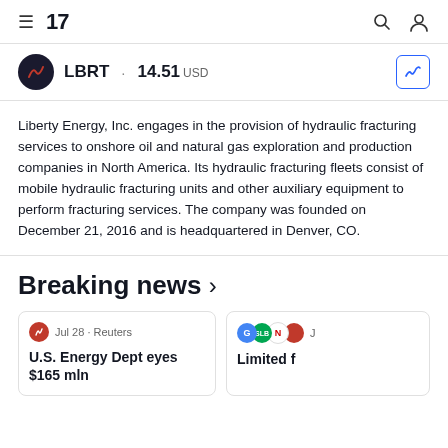TradingView navigation bar with hamburger menu, logo, search and user icons
LBRT · 14.51 USD
Liberty Energy, Inc. engages in the provision of hydraulic fracturing services to onshore oil and natural gas exploration and production companies in North America. Its hydraulic fracturing fleets consist of mobile hydraulic fracturing units and other auxiliary equipment to perform fracturing services. The company was founded on December 21, 2016 and is headquartered in Denver, CO.
Breaking news ›
Jul 28 · Reuters
U.S. Energy Dept eyes $165 mln
Limited f